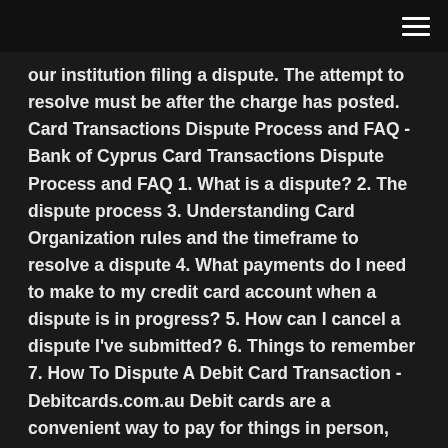our institution filing a dispute. The attempt to resolve must be after the charge has posted. Card Transactions Dispute Process and FAQ - Bank of Cyprus Card Transactions Dispute Process and FAQ 1. What is a dispute? 2. The dispute process 3. Understanding Card Organization rules and the timeframe to resolve a dispute 4. What payments do I need to make to my credit card account when a dispute is in progress? 5. How can I cancel a dispute I've submitted? 6. Things to remember 7. How To Dispute A Debit Card Transaction - Debitcards.com.au Debit cards are a convenient way to pay for things in person, online or over the phone but there are times when things can go wrong somewhere along the line. Whether it is from fraud or an electronic processing error, incorrect debit card